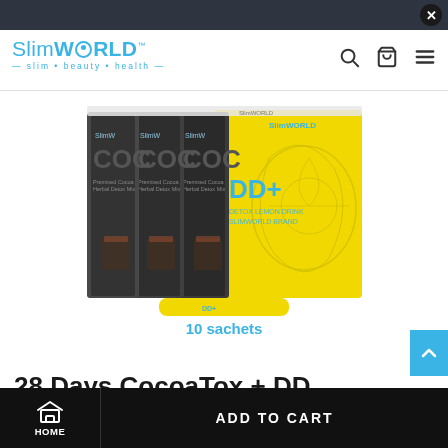SlimWORLD — slim • beauty • health
[Figure (photo): Product photo showing 28 Days CocoaTox + DD package: three dark brown cocoa sachets labeled 'COC' with SlimWorld branding, alongside a yellow DD+ box with lemon botanical illustration, and a single yellow sachet below. Text '10 sachets' in teal below the sachet.]
28 Days CocoaTox + DD
HOME | ADD TO CART